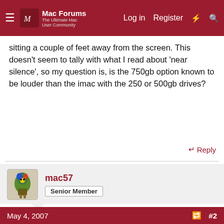Mac Forums | Log in | Register
sitting a couple of feet away from the screen. This doesn't seem to tally with what I read about 'near silence', so my question is, is the 750gb option known to be louder than the imac with the 250 or 500gb drives?
↩ Reply
mac57
Senior Member
May 4, 2007  #2
Welcome to Mac Forums, hudson!

I cannot comment on iMac noise levels, but I would comment that my PowerMac G5 is the second quietest computer I have ever owned. A custom build PC that came from a shop that specialized in completely silent PCs is the quietest I have ever had.